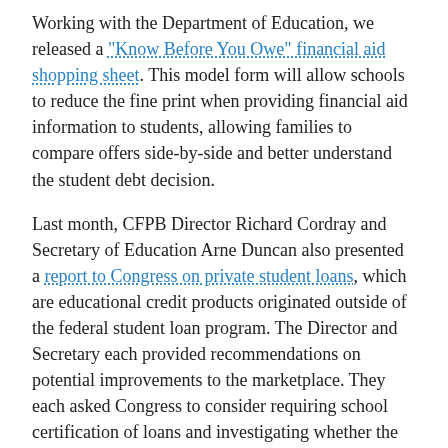Working with the Department of Education, we released a "Know Before You Owe" financial aid shopping sheet. This model form will allow schools to reduce the fine print when providing financial aid information to students, allowing families to compare offers side-by-side and better understand the student debt decision.
Last month, CFPB Director Richard Cordray and Secretary of Education Arne Duncan also presented a report to Congress on private student loans, which are educational credit products originated outside of the federal student loan program. The Director and Secretary each provided recommendations on potential improvements to the marketplace. They each asked Congress to consider requiring school certification of loans and investigating whether the 2005 change to the bankruptcy code met its intended goals. (8)
* * *
Of course, there is still much more work to be done